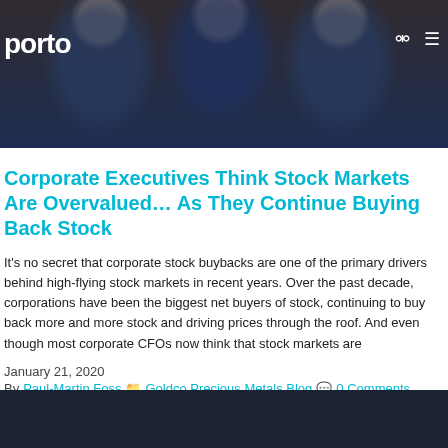[Figure (photo): Dark overhead photo of business people in suits at a meeting, arms raised, background with warm and dark tones. Website header with logo 'porto' on the left and search/menu icons on the right.]
Corporate Executives Think Stock Markets Are Overvalued… As They Continue Buying Back Stock
It's no secret that corporate stock buybacks are one of the primary drivers behind high-flying stock markets in recent years. Over the past decade, corporations have been the biggest net buyers of stock, continuing to buy back more and more stock and driving prices through the roof. And even though most corporate CFOs now think that stock markets are
January 21, 2020
By Paul-Martin Foss  Goldco Precious Metals Blog  0 Comments
READ MORE...